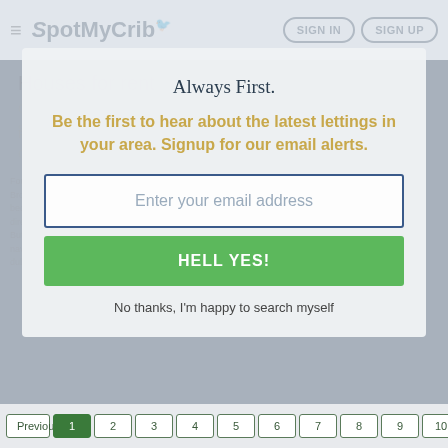[Figure (screenshot): SpotMyCrib website navigation bar with hamburger menu icon, logo, SIGN IN and SIGN UP buttons]
Houses for rent
Chosen filters are saved...
EDIT FILTERS
Change County : All
Always First.
Be the first to hear about the latest lettings in your area. Signup for our email alerts.
Enter your email address
HELL YES!
No thanks, I'm happy to search myself
Found total 251 rens in south city centre d8 dublin ireland. Browse all highlighted houses, with 1-5 bedrooms available to rent. Choose County and direction via the top right dropdown option. Click next/all Button by the page navigator at the bottom to browse the navigation below and in the town town town city centre d8 dublin Ireland.
Previous  1  2  3  4  5  6  7  8  9  10  11